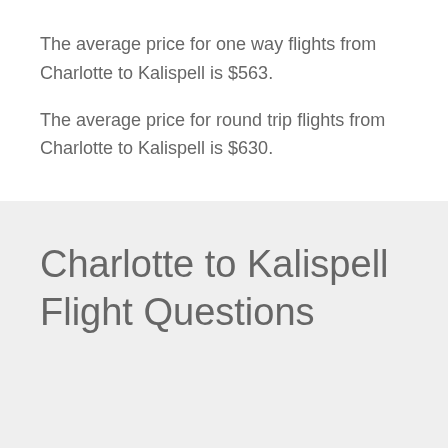The average price for one way flights from Charlotte to Kalispell is $563.
The average price for round trip flights from Charlotte to Kalispell is $630.
Charlotte to Kalispell Flight Questions
Airlines in Charlotte flying to